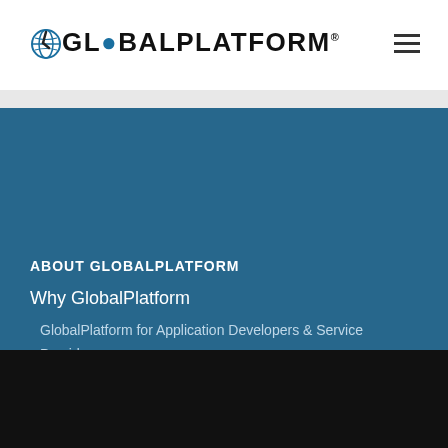[Figure (logo): GlobalPlatform logo with globe icon in the letter O]
ABOUT GLOBALPLATFORM
Why GlobalPlatform
GlobalPlatform for Application Developers & Service Providers
GlobalPlatform for Device Makers
GlobalPlatform for IoT Cloud Platform Providers
GlobalPlatform for Product Vendors
This website uses cookies to ensure you get the best browsing experience. Learn More
Decline   Got It!